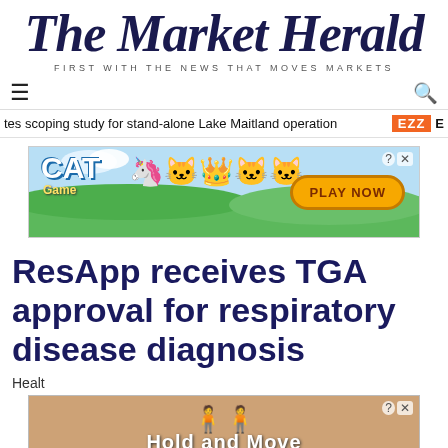The Market Herald — FIRST WITH THE NEWS THAT MOVES MARKETS
tes scoping study for stand-alone Lake Maitland operation EZZ
[Figure (screenshot): Cat Game advertisement banner with cartoon cat characters and 'PLAY NOW' button]
ResApp receives TGA approval for respiratory disease diagnosis
Healt
[Figure (screenshot): Mobile game advertisement with blue stick figures and 'Hold and Move' text on a tan background]